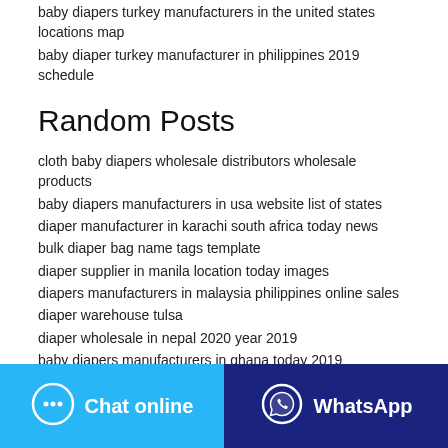baby diapers turkey manufacturers in the united states locations map
baby diaper turkey manufacturer in philippines 2019 schedule
Random Posts
cloth baby diapers wholesale distributors wholesale products
baby diapers manufacturers in usa website list of states
diaper manufacturer in karachi south africa today news
bulk diaper bag name tags template
diaper supplier in manila location today images
diapers manufacturers in malaysia philippines online sales
diaper warehouse tulsa
diaper wholesale in nepal 2020 year 2019
baby diapers manufacturers in ghana today 2019
Chat online | WhatsApp